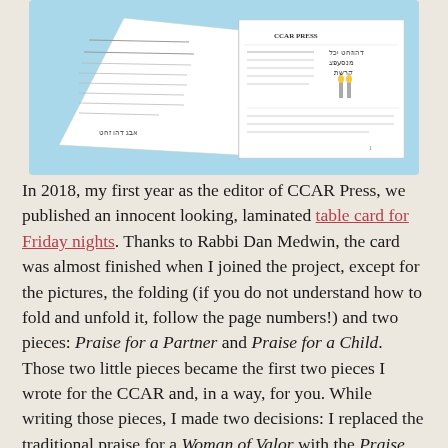[Figure (photo): A photograph of a laminated folded table card for Friday nights, shown open/unfolded against a light blue background. The card contains Hebrew and English text, with a small illustration visible on one panel.]
In 2018, my first year as the editor of CCAR Press, we published an innocent looking, laminated table card for Friday nights. Thanks to Rabbi Dan Medwin, the card was almost finished when I joined the project, except for the pictures, the folding (if you do not understand how to fold and unfold it, follow the page numbers!) and two pieces: Praise for a Partner and Praise for a Child. Those two little pieces became the first two pieces I wrote for the CCAR and, in a way, for you. While writing those pieces, I made two decisions: I replaced the traditional praise for a Woman of Valor with the Praise for a Partner; and I merged two